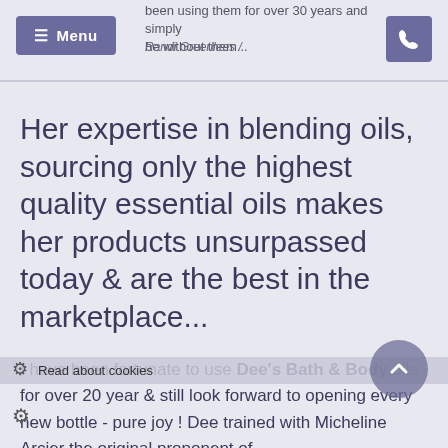been using them for over 30 years and simply be without them... Randi Greenlees /
Her expertise in blending oils, sourcing only the highest quality essential oils makes her products unsurpassed today & are the best in the marketplace...
I have been fortunate to use Dee's Bath & Body oils for over 20 year & still look forward to opening every new bottle - pure joy ! Dee trained with Micheline Arcier the original proponent of
Read about cookies